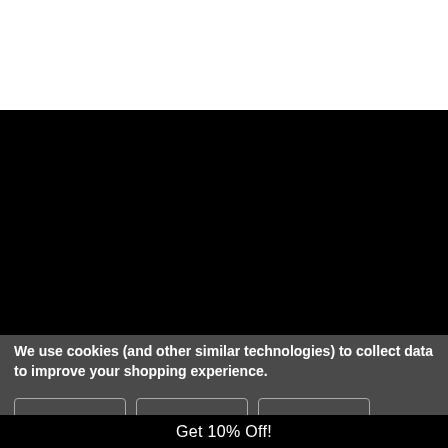[Figure (screenshot): White area at top of page (blank/empty content area)]
[Figure (screenshot): Large black rectangle occupying middle section of page, representing a darkened or blacked-out content area]
We use cookies (and other similar technologies) to collect data to improve your shopping experience.
[Figure (screenshot): Three button outlines in a row on the dark cookie consent bar]
Get 10% Off!